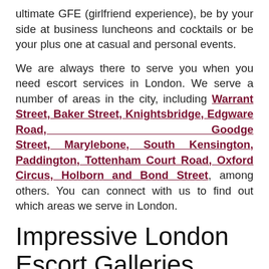ultimate GFE (girlfriend experience), be by your side at business luncheons and cocktails or be your plus one at casual and personal events.
We are always there to serve you when you need escort services in London. We serve a number of areas in the city, including Warrant Street, Baker Street, Knightsbridge, Edgware Road, Goodge Street, Marylebone, South Kensington, Paddington, Tottenham Court Road, Oxford Circus, Holborn and Bond Street, among others. You can connect with us to find out which areas we serve in London.
Impressive London Escort Galleries
We have comprehensive galleries of alluring top